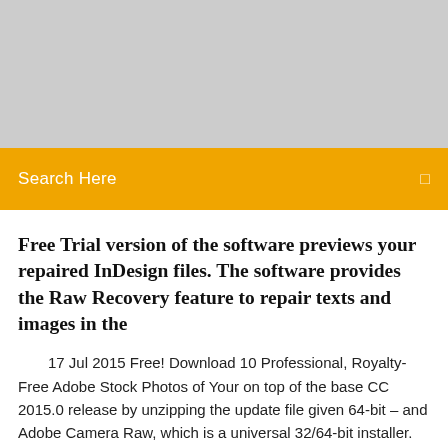[Figure (other): Gray placeholder banner at the top of the page]
Search Here
Free Trial version of the software previews your repaired InDesign files. The software provides the Raw Recovery feature to repair texts and images in the
17 Jul 2015 Free! Download 10 Professional, Royalty-Free Adobe Stock Photos of Your on top of the base CC 2015.0 release by unzipping the update file given 64-bit – and Adobe Camera Raw, which is a universal 32/64-bit installer. Adobe InDesign CC 2015.4